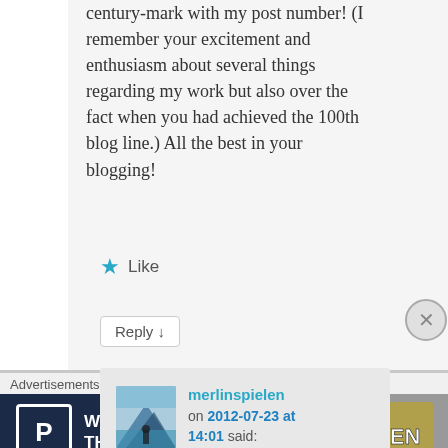century-mark with my post number! (I remember your excitement and enthusiasm about several things regarding my work but also over the fact when you had achieved the 100th blog line.) All the best in your blogging!
★ Like
Reply ↓
merlinspielen on 2012-07-23 at 14:01 said:
Advertisements
[Figure (infographic): WordPress Hosting That Means Business advertisement banner with logo P in box on dark blue background and OPEN sign photo on right]